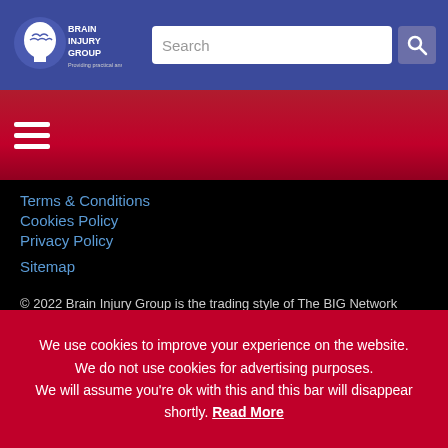[Figure (logo): Brain Injury Group logo - white head silhouette with brain graphic, white text 'BRAIN INJURY GROUP', tagline 'Providing practical answers']
Search
Terms & Conditions
Cookies Policy
Privacy Policy
Sitemap
© 2022 Brain Injury Group is the trading style of The BIG Network Limited.
The BIG Network Limited is not regulated by the Solicitors Regulation Authority.
We use cookies to improve your experience on the website. We do not use cookies for advertising purposes. We will assume you're ok with this and this bar will disappear shortly. Read More